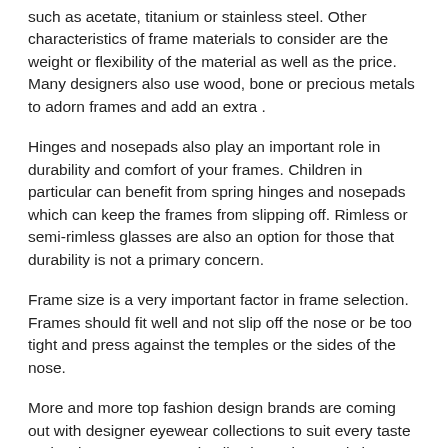such as acetate, titanium or stainless steel. Other characteristics of frame materials to consider are the weight or flexibility of the material as well as the price. Many designers also use wood, bone or precious metals to adorn frames and add an extra .
Hinges and nosepads also play an important role in durability and comfort of your frames. Children in particular can benefit from spring hinges and nosepads which can keep the frames from slipping off. Rimless or semi-rimless glasses are also an option for those that durability is not a primary concern.
Frame size is a very important factor in frame selection. Frames should fit well and not slip off the nose or be too tight and press against the temples or the sides of the nose.
More and more top fashion design brands are coming out with designer eyewear collections to suit every taste and style. Frames come in all colors, sizes and shapes so the choices are endless in finding a frame that suits your personal style and looks good with your face shape and coloring.